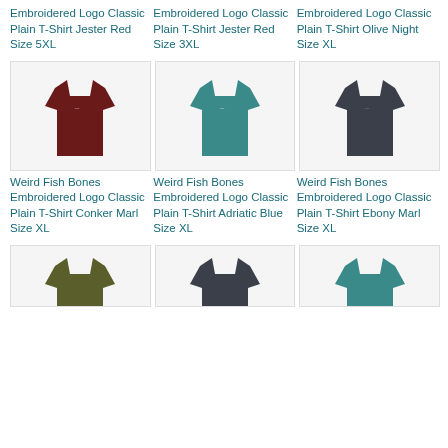Embroidered Logo Classic Plain T-Shirt Jester Red Size 5XL
Embroidered Logo Classic Plain T-Shirt Jester Red Size 3XL
Embroidered Logo Classic Plain T-Shirt Olive Night Size XL
[Figure (photo): Dark red/maroon t-shirt with small embroidered logo on chest]
[Figure (photo): Teal/dark cyan t-shirt with small embroidered logo on chest]
[Figure (photo): Dark navy/charcoal t-shirt with small embroidered logo on chest]
Weird Fish Bones Embroidered Logo Classic Plain T-Shirt Conker Marl Size XL
Weird Fish Bones Embroidered Logo Classic Plain T-Shirt Adriatic Blue Size XL
Weird Fish Bones Embroidered Logo Classic Plain T-Shirt Ebony Marl Size XL
[Figure (photo): Olive/khaki t-shirt with small embroidered logo on chest]
[Figure (photo): Dark charcoal t-shirt with small embroidered logo on chest]
[Figure (photo): Teal t-shirt with small embroidered logo on chest]